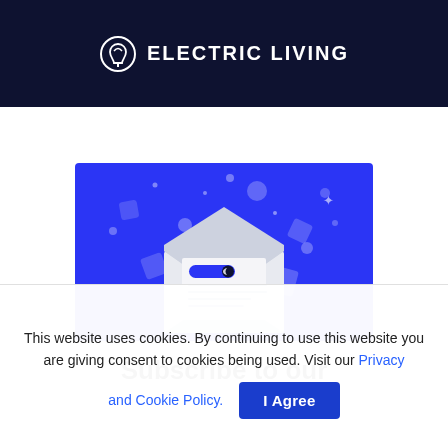[Figure (logo): Electric Living logo — house/leaf icon in a circle with text ELECTRIC LIVING on dark navy background]
[Figure (illustration): Blue background illustration with an open envelope containing a newsletter/email with a toggle switch icon, surrounded by floating geometric shapes and sparkles]
Subscribe to our
This website uses cookies. By continuing to use this website you are giving consent to cookies being used. Visit our Privacy and Cookie Policy.
I Agree